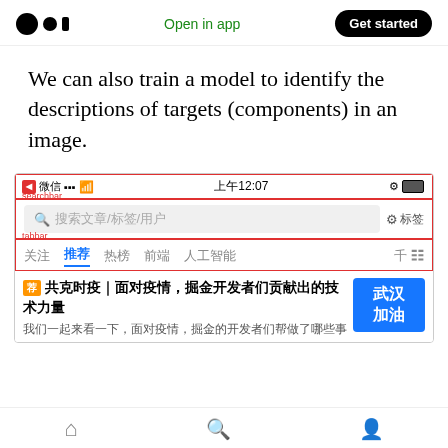Medium logo | Open in app | Get started
We can also train a model to identify the descriptions of targets (components) in an image.
[Figure (screenshot): A screenshot of a mobile app (Chinese content aggregator, likely Juejin) showing a status bar with 上午12:07, a search bar labeled 'searchbar' with placeholder text 搜索文章/标签/用户, a tab bar labeled 'tabbar' with tabs 关注, 推荐 (active), 热榜, 前端, 人工智能, and a content item about 共克时疫｜面对疫情，掘金开发者们贡献出的技术力量 with a 武汉加油 blue badge.]
Home | Search | Profile navigation icons